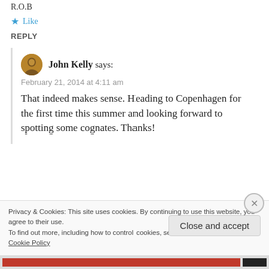R.O.B
★ Like
REPLY
John Kelly says:
February 21, 2014 at 4:11 am
That indeed makes sense. Heading to Copenhagen for the first time this summer and looking forward to spotting some cognates. Thanks!
Privacy & Cookies: This site uses cookies. By continuing to use this website, you agree to their use.
To find out more, including how to control cookies, see here:
Cookie Policy
Close and accept